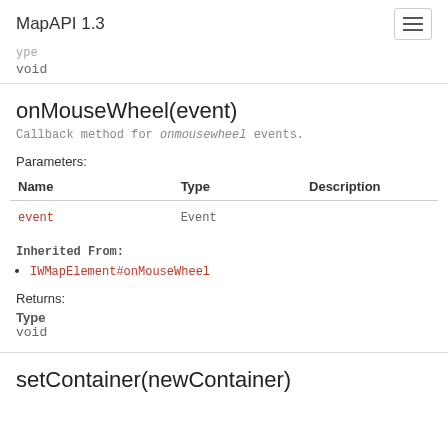MapAPI 1.3
void
onMouseWheel(event)
Callback method for onmousewheel events.
Parameters:
| Name | Type | Description |
| --- | --- | --- |
| event | Event |  |
Inherited From:
IWMapElement#onMouseWheel
Returns:
Type
void
setContainer(newContainer)